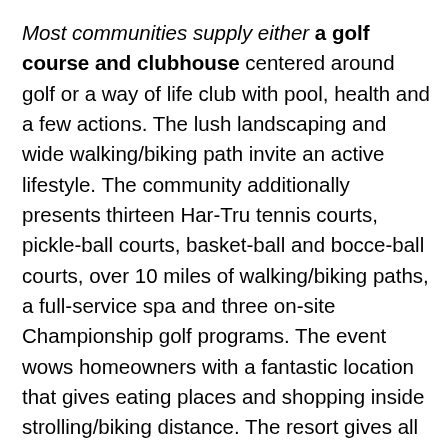Most communities supply either a golf course and clubhouse centered around golf or a way of life club with pool, health and a few actions. The lush landscaping and wide walking/biking path invite an active lifestyle. The community additionally presents thirteen Har-Tru tennis courts, pickle-ball courts, basket-ball and bocce-ball courts, over 10 miles of walking/biking paths, a full-service spa and three on-site Championship golf programs. The event wows homeowners with a fantastic location that gives eating places and shopping inside strolling/biking distance. The resort gives all of the luxuries you possibly can think of or anticipate in any resort. The group affords fast entry to Interstate 75 and is about 25 minutes away from the gorgeous Waterside Shops or fun-crammed Mercato. The resort is simply fifteen minutes away from the famous Naples Pier and the upscale dining and procuring on fifth Avenue S and 3rd Street. Lely is about fifteen driving-